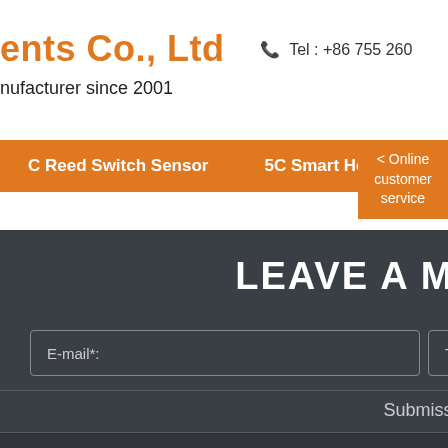ents Co., Ltd
nufacturer since 2001
Tel : +86 755 260
C Reed Switch Sensor   5C Smart Home Security
< Online customer service
LEAVE A MESSAGE
E-mail*:
T
Submission